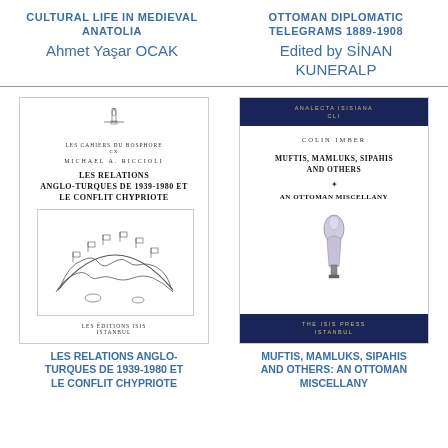CULTURAL LIFE IN MEDIEVAL ANATOLIA
Ahmet Yaşar OCAK
OTTOMAN DIPLOMATIC TELEGRAMS 1889-1908
Edited by SİNAN KUNERALP
[Figure (illustration): Book cover of 'Les Relations Anglo-Turques de 1939-1980 et le Conflit Chypriote' by Michael A. Riccioli, Les Cahiers du Bosphore series, with a map illustration showing flags over a map, published by Les Editions Isis, Istanbul.]
LES RELATIONS ANGLO-TURQUES DE 1939-1980 ET LE CONFLIT CHYPRIOTE
[Figure (illustration): Book cover of 'Muftis, Mamluks, Sipahis and Others: An Ottoman Miscellany' by Colin Imber, Analecta Isisiana series, published by The Isis Press, Istanbul. Dark navy header and footer with gold text, emblem in center.]
MUFTIS, MAMLUKS, SIPAHIS AND OTHERS: AN OTTOMAN MISCELLANY